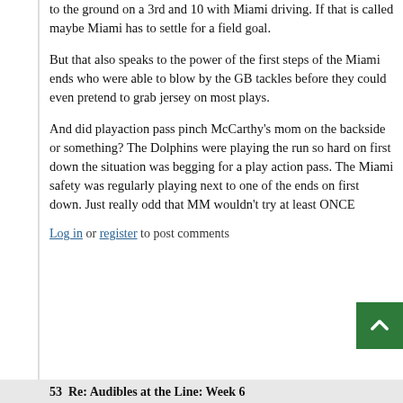to the ground on a 3rd and 10 with Miami driving. If that is called maybe Miami has to settle for a field goal.
But that also speaks to the power of the first steps of the Miami ends who were able to blow by the GB tackles before they could even pretend to grab jersey on most plays.
And did playaction pass pinch McCarthy's mom on the backside or something? The Dolphins were playing the run so hard on first down the situation was begging for a play action pass. The Miami safety was regularly playing next to one of the ends on first down. Just really odd that MM wouldn't try at least ONCE
Log in or register to post comments
53  Re: Audibles at the Line: Week 6